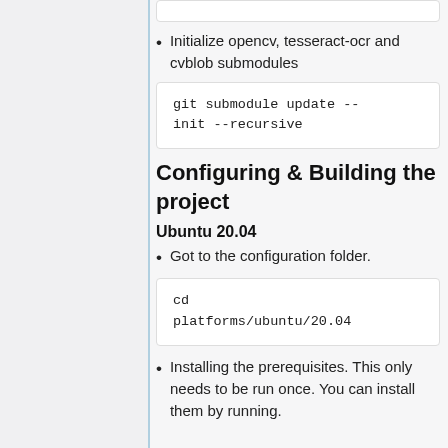git submodule update --init --recursive
Initialize opencv, tesseract-ocr and cvblob submodules
git submodule update --
init --recursive
Configuring & Building the project
Ubuntu 20.04
Got to the configuration folder.
cd platforms/ubuntu/20.04
Installing the prerequisites. This only needs to be run once. You can install them by running.